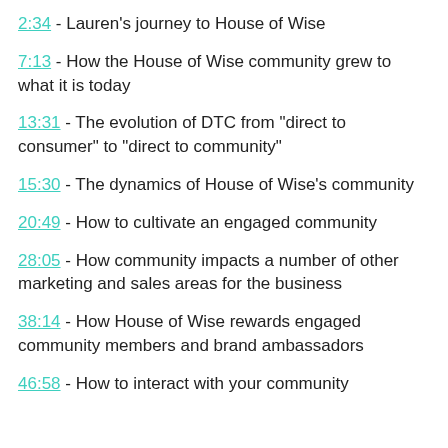2:34 - Lauren's journey to House of Wise
7:13 - How the House of Wise community grew to what it is today
13:31 - The evolution of DTC from "direct to consumer" to "direct to community"
15:30 - The dynamics of House of Wise's community
20:49 - How to cultivate an engaged community
28:05 - How community impacts a number of other marketing and sales areas for the business
38:14 - How House of Wise rewards engaged community members and brand ambassadors
46:58 - How to interact with your community